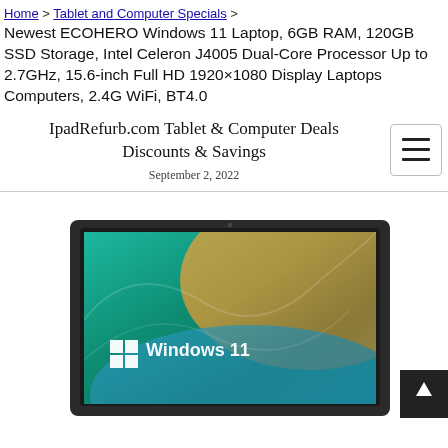Home > Tablet and Computer Specials >
Newest ECOHERO Windows 11 Laptop, 6GB RAM, 120GB SSD Storage, Intel Celeron J4005 Dual-Core Processor Up to 2.7GHz, 15.6-inch Full HD 1920×1080 Display Laptops Computers, 2.4G WiFi, BT4.0
IpadRefurb.com Tablet & Computer Deals Discounts & Savings
September 2, 2022
[Figure (photo): Laptop showing Windows 11 wallpaper on screen, dark bezel, partial view cropped at bottom]